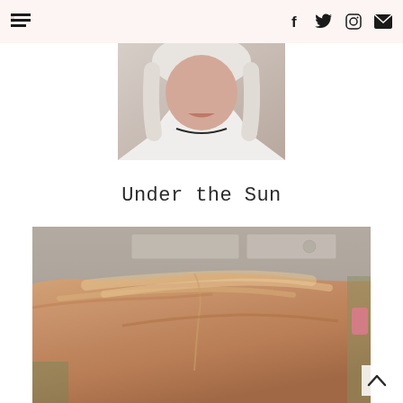Navigation bar with menu icon, Facebook, Twitter, Instagram, and email icons
[Figure (photo): Partial portrait of a person with white/blonde hair and white ruffled clothing, cropped showing lower face and neckline]
Under the Sun
[Figure (photo): Selfie photo taken inside a car showing the top of someone's head with strawberry blonde/rose gold hair, car interior ceiling visible at top]